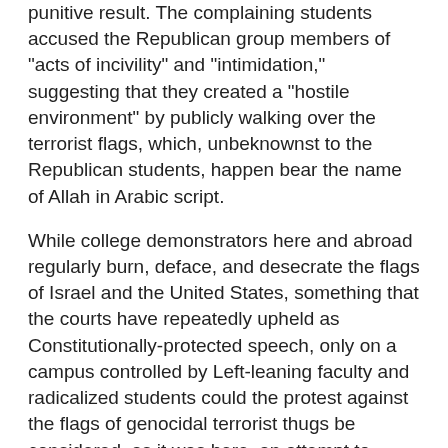punitive result. The complaining students accused the Republican group members of "acts of incivility" and "intimidation," suggesting that they created a "hostile environment" by publicly walking over the terrorist flags, which, unbeknownst to the Republican students, happen bear the name of Allah in Arabic script.
While college demonstrators here and abroad regularly burn, deface, and desecrate the flags of Israel and the United States, something that the courts have repeatedly upheld as Constitutionally-protected speech, only on a campus controlled by Left-leaning faculty and radicalized students could the protest against the flags of genocidal terrorist thugs be considered, as it was here, an attempt to "incite violence," "hateful religious intolerance" and an act by those who "pre-meditated the stomping of the flags knowing it would offend some people and possibly incite violence." Thanks to the intervention of The Foundation for Individual Rights in Education (FIRE), a group that defends campus free speech, the Republican club was exonerated, but only after they had been dragged through proceedings by University officials who had to be reminded by FIRE that "speech does not constitute incitement if a speaker's words result in violence